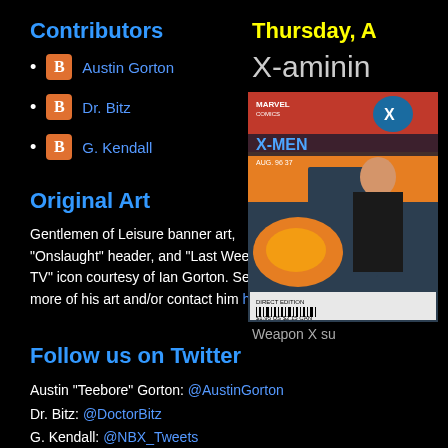Contributors
Austin Gorton
Dr. Bitz
G. Kendall
Original Art
Gentlemen of Leisure banner art, "Onslaught" header, and "Last Week in TV" icon courtesy of Ian Gorton. See more of his art and/or contact him here.
Follow us on Twitter
Austin "Teebore" Gorton: @AustinGorton
Dr. Bitz: @DoctorBitz
G. Kendall: @NBX_Tweets
Saved by the Bell Reviewed: The Podcast: @SBTB_Reviewed
A Very Special Episode: @AVSEPod
Thursday, A
X-aminin
[Figure (photo): X-Men comic book cover, Marvel Comics, issue 37, showing characters in action with a robotic arm visible, Direct Edition with barcode.]
Weapon X su